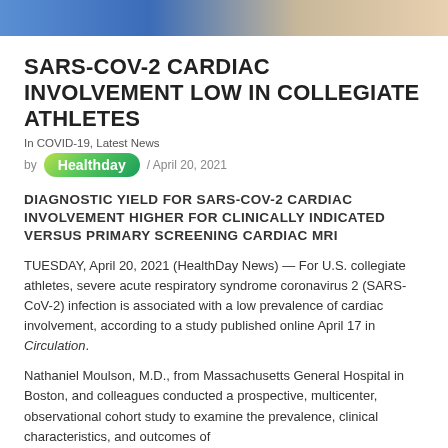[Figure (photo): Top banner image showing collegiate athletes in sports uniforms, blue and tan tones]
SARS-COV-2 CARDIAC INVOLVEMENT LOW IN COLLEGIATE ATHLETES
In COVID-19, Latest News
by Healthday / April 20, 2021
DIAGNOSTIC YIELD FOR SARS-COV-2 CARDIAC INVOLVEMENT HIGHER FOR CLINICALLY INDICATED VERSUS PRIMARY SCREENING CARDIAC MRI
TUESDAY, April 20, 2021 (HealthDay News) — For U.S. collegiate athletes, severe acute respiratory syndrome coronavirus 2 (SARS-CoV-2) infection is associated with a low prevalence of cardiac involvement, according to a study published online April 17 in Circulation.
Nathaniel Moulson, M.D., from Massachusetts General Hospital in Boston, and colleagues conducted a prospective, multicenter, observational cohort study to examine the prevalence, clinical characteristics, and outcomes of